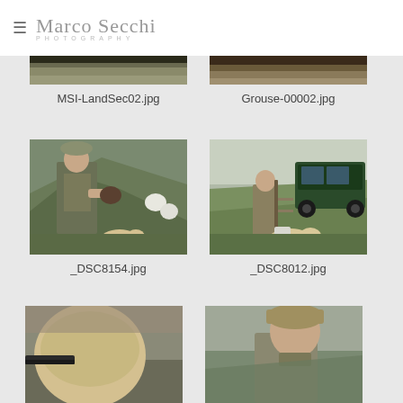Marco Secchi Photography
MSI-LandSec02.jpg
Grouse-00002.jpg
[Figure (photo): Man in tweed vest and flat cap holding a game bird with a golden Labrador dog on a hillside with white birds in background]
_DSC8154.jpg
[Figure (photo): Person with walking stick on a green hillside with a golden Labrador dog and a dark green Land Rover in the background]
_DSC8012.jpg
[Figure (photo): Close-up of a golden Labrador's head and back with a gun barrel visible on the left, blurred background]
[Figure (photo): Person wearing a cap looking sideways on a hillside, blurred background]